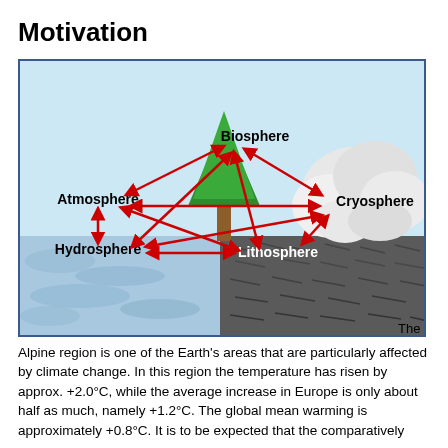Motivation
[Figure (infographic): Diagram showing interactions between Earth system spheres: Atmosphere, Biosphere, Cryosphere, Hydrosphere, Lithosphere, connected by red double-headed arrows in an interconnected network. Background shows light blue sky, snow/ice (Cryosphere), water (Hydrosphere), and dark ground (Lithosphere). A green tree represents Biosphere.]
The Alpine region is one of the Earth's areas that are particularly affected by climate change. In this region the temperature has risen by approx. +2.0°C, while the average increase in Europe is only about half as much, namely +1.2°C. The global mean warming is approximately +0.8°C. It is to be expected that the comparatively